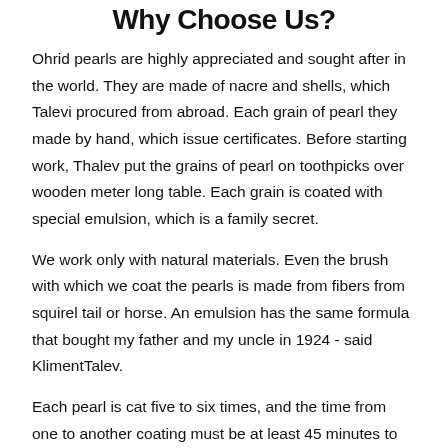Why Choose Us?
Ohrid pearls are highly appreciated and sought after in the world. They are made of nacre and shells, which Talevi procured from abroad. Each grain of pearl they made by hand, which issue certificates. Before starting work, Thalev put the grains of pearl on toothpicks over wooden meter long table. Each grain is coated with special emulsion, which is a family secret.
We work only with natural materials. Even the brush with which we coat the pearls is made from fibers from squirel tail or horse. An emulsion has the same formula that bought my father and my uncle in 1924 - said KlimentTalev.
Each pearl is cat five to six times, and the time from one to another coating must be at least 45 minutes to an hour, to be well dried . Talev said it is not recommended to string pearls the same day they are made, but it is best to do so the next day.
Many famous people from Macedonia and abroad bought pearls